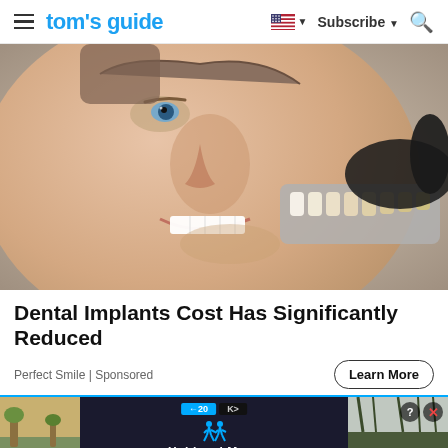tom's guide — Subscribe
[Figure (photo): Close-up of a man smiling at a dentist, with a dental shade guide (tooth color samples) held next to his teeth by a gloved hand.]
Dental Implants Cost Has Significantly Reduced
Perfect Smile | Sponsored
Learn More
[Figure (screenshot): Advertisement banner showing 'Hold and Move' text with a dark background, flanked by outdoor images. Has close/help icons in top right.]